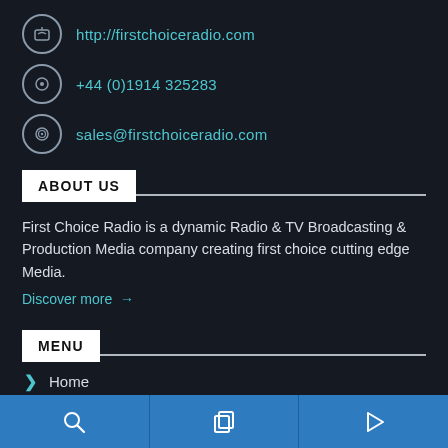http://firstchoiceradio.com
+44 (0)1914 325283
sales@firstchoiceradio.com
ABOUT US
First Choice Radio is a dynamic Radio & TV Broadcasting & Production Media company creating first choice cutting edge Media.
Discover more →
MENU
Home
[Figure (infographic): Bottom navigation toolbar with three icon buttons on blue background: search icon, copy/pages icon, and play icon]